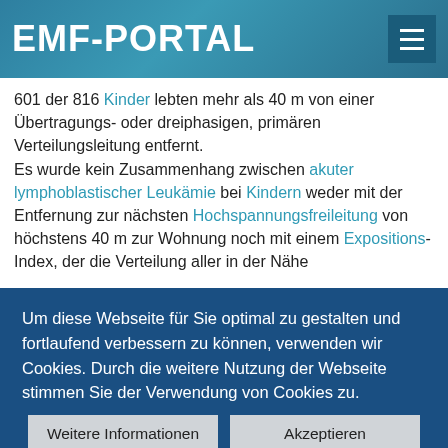EMF-PORTAL
601 der 816 Kinder lebten mehr als 40 m von einer Übertragungs- oder dreiphasigen, primären Verteilungsleitung entfernt.
Es wurde kein Zusammenhang zwischen akuter lymphoblastischer Leukämie bei Kindern weder mit der Entfernung zur nächsten Hochspannungsfreileitung von höchstens 40 m zur Wohnung noch mit einem Expositions-Index, der die Verteilung aller in der Nähe
Um diese Webseite für Sie optimal zu gestalten und fortlaufend verbessern zu können, verwenden wir Cookies. Durch die weitere Nutzung der Webseite stimmen Sie der Verwendung von Cookies zu.